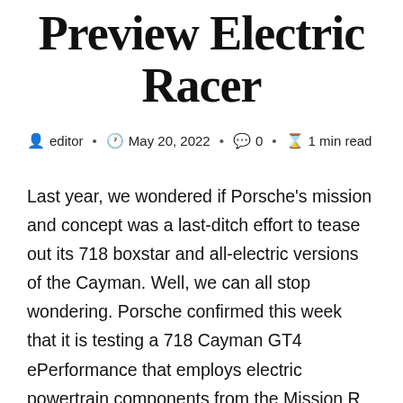Preview Electric Racer
editor · May 20, 2022 · 0 · 1 min read
Last year, we wondered if Porsche's mission and concept was a last-ditch effort to tease out its 718 boxstar and all-electric versions of the Cayman. Well, we can all stop wondering. Porsche confirmed this week that it is testing a 718 Cayman GT4 ePerformance that employs electric powertrain components from the Mission R concept, and that it is faster – the 911 GT3 Cup car faster. Porsche